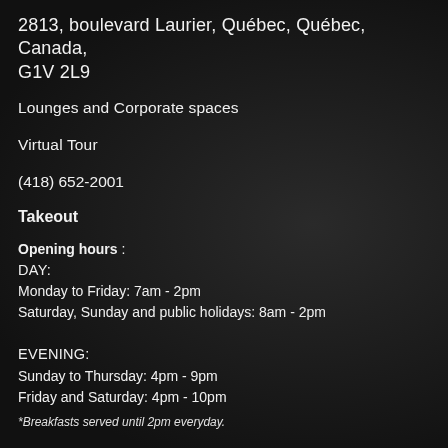2813, boulevard Laurier, Québec, Québec, Canada, G1V 2L9
Lounges and Corporate spaces
Virtual Tour
(418) 652-2001
Takeout
Opening hours :
DAY:
Monday to Friday: 7am - 2pm
Saturday, Sunday and public holidays: 8am - 2pm

EVENING:
Sunday to Thursday: 4pm - 9pm
Friday and Saturday: 4pm - 10pm
*Breakfasts served until 2pm everyday.